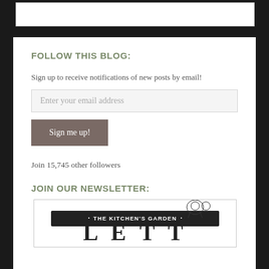FOLLOW THIS BLOG:
Sign up to receive notifications of new posts by email!
Enter your email address
Sign me up!
Join 15,745 other followers
JOIN OUR NEWSLETTER:
[Figure (illustration): The Kitchen's Garden newsletter banner with decorative text reading LETTER below]